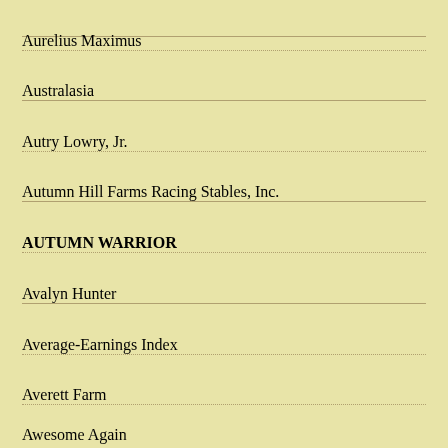Aurelius Maximus
Australasia
Autry Lowry, Jr.
Autumn Hill Farms Racing Stables, Inc.
AUTUMN WARRIOR
Avalyn Hunter
Average-Earnings Index
Averett Farm
Awesome Again